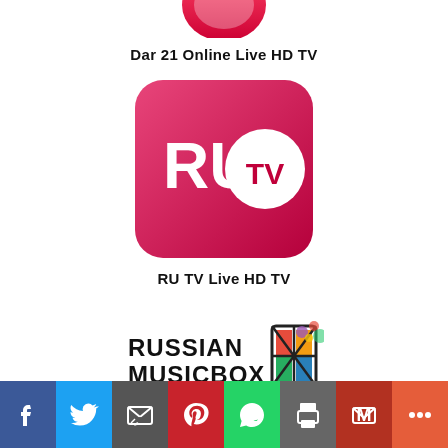[Figure (logo): Partial red logo (Dar 21) clipped at top of page]
Dar 21 Online Live HD TV
[Figure (logo): RU TV logo — pink/magenta gradient rounded square with white RU TV text and circle]
RU TV Live HD TV
[Figure (logo): Russian Music Box logo with colorful box icon and text]
[Figure (infographic): Social media share bar with Facebook, Twitter, Email, Pinterest, WhatsApp, Print, Gmail, More buttons]